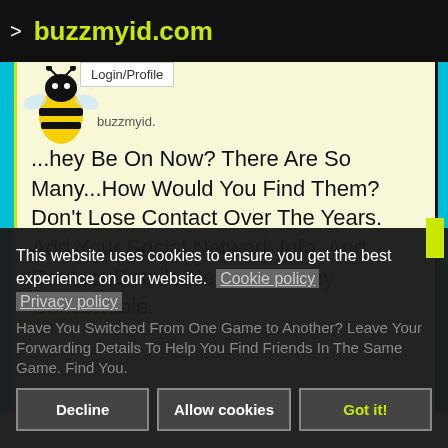> buzzmyid.com
Login/Profile
...they Be On Now? There Are So Many...How Would You Find Them? Don't Lose Contact Over The Years. Add Your Social Network Info. And Contact Details Here, And Stay Contactable.
This website uses cookies to ensure you get the best experience on our website. Cookie policy Privacy policy
Have You Switched From One Game to Another? Leave Your Forwarding Details To Help You Find Friends In The Same Game. Find You.
Decline | Allow cookies | Got it!